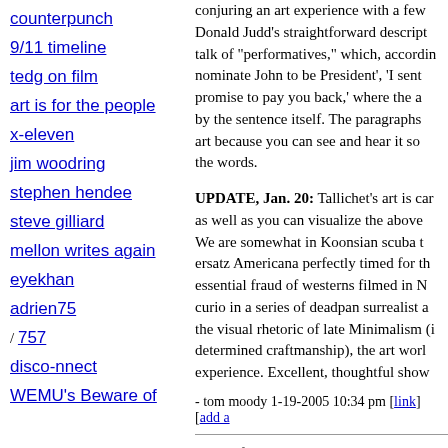counterpunch
9/11 timeline
tedg on film
art is for the people
x-eleven
jim woodring
stephen hendee
steve gilliard
mellon writes again
eyekhan
adrien75 / 757
disco-nnect
WEMU's Beware of
conjuring an art experience with a few words... Donald Judd's straightforward description... talk of "performatives," which, according... nominate John to be President', 'I sent... promise to pay you back,' where the a... by the sentence itself. The paragraphs... art because you can see and hear it so... the words.
UPDATE, Jan. 20: Tallichet's art is car... as well as you can visualize the above... We are somewhat in Koonsian scuba t... ersatz Americana perfectly timed for th... essential fraud of westerns filmed in N... curio in a series of deadpan surrealist a... the visual rhetoric of late Minimalism (i... determined craftmanship), the art worl... experience. Excellent, thoughtful show...
- tom moody 1-19-2005 10:34 pm [link] [add a
Photos from the Wrecking Ball [dead li... Musical Debauchery and Mayhem] in...